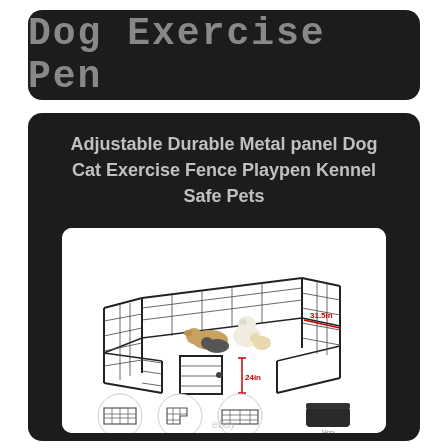Dog Exercise Pen
Adjustable Durable Metal panel Dog Cat Exercise Fence Playpen Kennel Safe Pets
[Figure (photo): Product image of a metal wire dog exercise pen/playpen with dogs inside. Dimensions shown: 31.5in width and 24in height. Below the main pen image are four circular thumbnails showing different configurations of the pen, and one rectangular box image. An eBay watermark is visible at the bottom.]